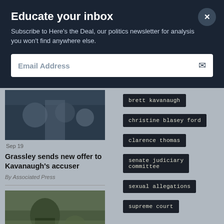Educate your inbox
Subscribe to Here's the Deal, our politics newsletter for analysis you won't find anywhere else.
Email Address
Sep 19
Grassley sends new offer to Kavanaugh's accuser
By Associated Press
brett kavanaugh
christine blasey ford
clarence thomas
senate judiciary committee
sexual allegations
supreme court